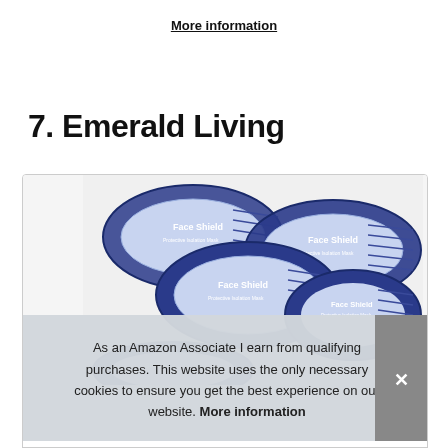More information
7. Emerald Living
[Figure (photo): Stack of Face Shield Protective Isolation Mask products with blue and white packaging, multiple units stacked together]
As an Amazon Associate I earn from qualifying purchases. This website uses the only necessary cookies to ensure you get the best experience on our website. More information